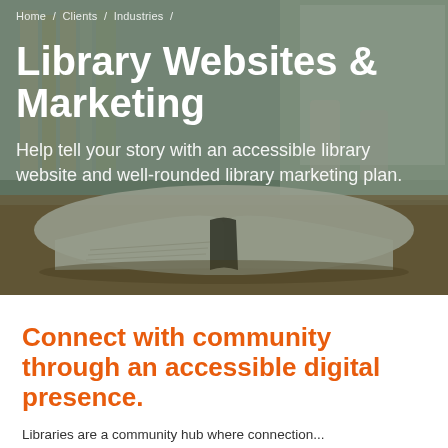[Figure (photo): Hero background image of an open book on a table in a library with blurred bookshelves and chairs in the background, with a dark overlay]
Home / Clients / Industries /
Library Websites & Marketing
Help tell your story with an accessible library website and well-rounded library marketing plan.
Connect with community through an accessible digital presence.
Libraries are a community hub where connection...